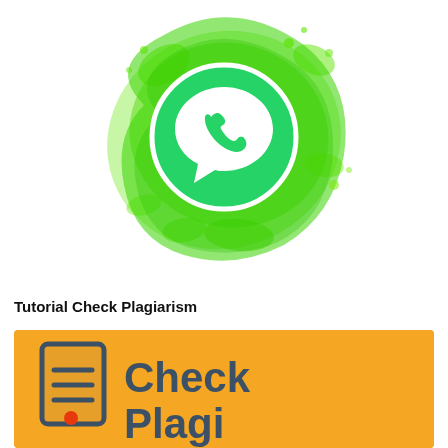[Figure (logo): WhatsApp logo with green paint splash/brush stroke background and white phone icon in speech bubble]
Tutorial Check Plagiarism
[Figure (illustration): Orange/yellow banner with a dark teal document icon with red dot and the text 'Check Plagiarism' in dark teal bold font]